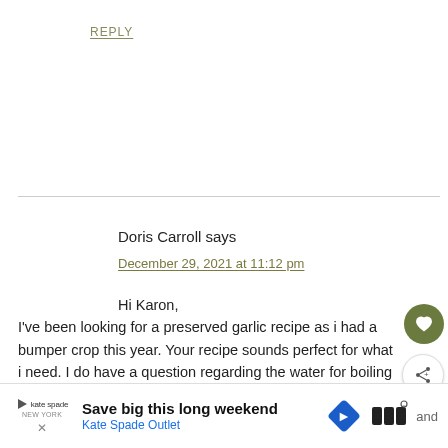REPLY
Doris Carroll says
December 29, 2021 at 11:12 pm
Hi Karon,
I've been looking for a preserved garlic recipe as i had a bumper crop this year. Your recipe sounds perfect for what i need. I do have a question regarding the water for boiling the garlic. Should i be dropping the garlic into cold water and then boiling for the time when boiling point reached, or, am i dropping garlic into boiling water and cooking for required time?
Save big this long weekend
Kate Spade Outlet